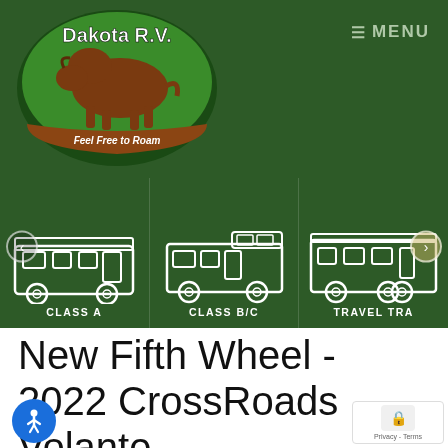[Figure (logo): Dakota R.V. logo — green oval with brown bison silhouette, text 'Dakota R.V.' in white and 'Feel Free to Roam' on a brown ribbon banner]
☰ MENU
[Figure (illustration): RV category navigation carousel showing three categories: CLASS A (motorhome icon), CLASS B/C (van-based RV icon), TRAVEL TRA... (travel trailer icon, partially cut off). Left and right navigation arrows visible.]
New Fifth Wheel - 2022 CrossRoads Volante VL270RH